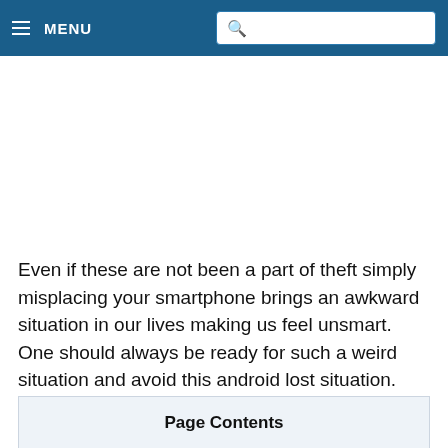≡ MENU
Even if these are not been a part of theft simply misplacing your smartphone brings an awkward situation in our lives making us feel unsmart. One should always be ready for such a weird situation and avoid this android lost situation.
Page Contents